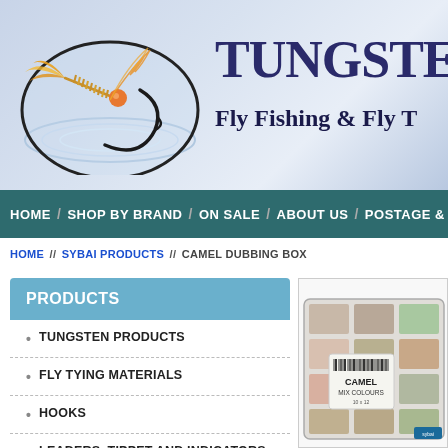[Figure (logo): Fly fishing hook logo with a fishing fly (orange/yellow feathers) inside an oval, with water ripple effect below. Tungsten-B website header.]
TUNGSTEN-B / Fly Fishing & Fly T
HOME / SHOP BY BRAND / ON SALE / ABOUT US / POSTAGE &
HOME // SYBAI PRODUCTS // CAMEL DUBBING BOX
PRODUCTS
TUNGSTEN PRODUCTS
FLY TYING MATERIALS
HOOKS
LEADERS, TIPPET AND INDICATORS
TROUT & GRAYLING DRY FLIES
TROUT & GRAYLING SUBSURFACE FLIES
[Figure (photo): Product photo of Camel Mix Colours dubbing box - a clear plastic box containing multiple compartments of different colored dubbing materials (pink, beige, olive, brown tones). Label reads CAMEL MIX COLOURS.]